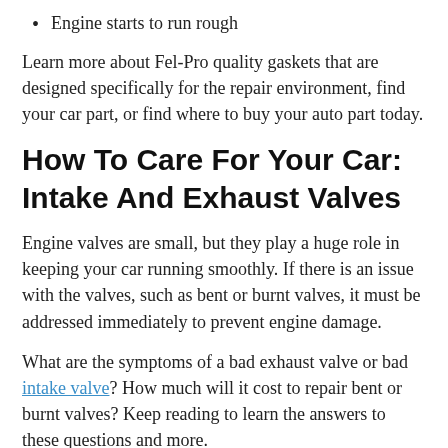Engine starts to run rough
Learn more about Fel-Pro quality gaskets that are designed specifically for the repair environment, find your car part, or find where to buy your auto part today.
How To Care For Your Car: Intake And Exhaust Valves
Engine valves are small, but they play a huge role in keeping your car running smoothly. If there is an issue with the valves, such as bent or burnt valves, it must be addressed immediately to prevent engine damage.
What are the symptoms of a bad exhaust valve or bad intake valve? How much will it cost to repair bent or burnt valves? Keep reading to learn the answers to these questions and more.
What are intake and exhaust valves?
Intake and exhaust valves are the final component in the valve train system. They are made of hardened metal that must withstand the extreme conditions of the combustion